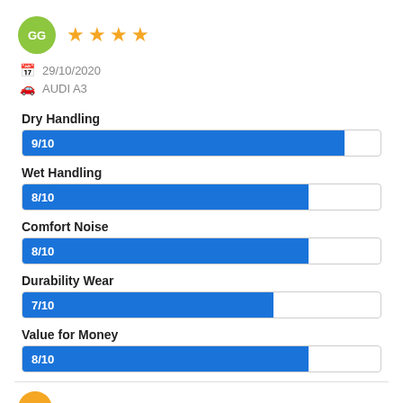GG — 4 stars — 29/10/2020 — AUDI A3
[Figure (bar-chart): Tire Ratings]